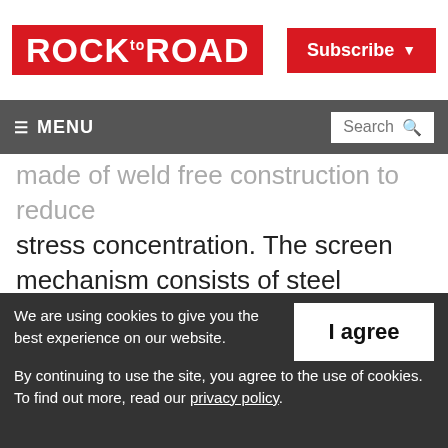ROCK TO ROAD | Subscribe
made of weld free construction to reduce stress concentration. The screen mechanism consists of steel eccentric shaft mounted in vibration screen duty self aligning spherical roller bearings, designed for longer bearing life. The stroke can be adjusted as per
We are using cookies to give you the best experience on our website. By continuing to use the site, you agree to the use of cookies. To find out more, read our privacy policy.